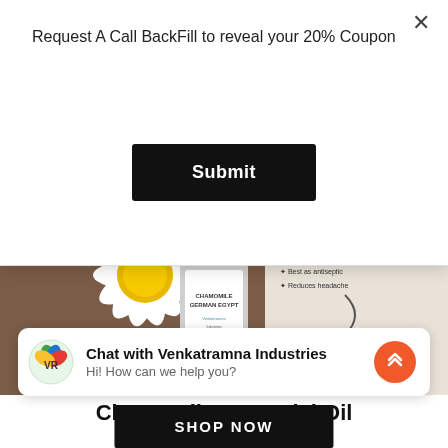Request A Call BackFill to reveal your 20% Coupon
[Figure (screenshot): Black Submit button]
[Figure (photo): Chamomile Essential Oil product photo with chamomile flowers and silver bottle labeled CHAMOMILE GERMAN EGYPT, with text ESSENTIAL OILS, Acts as allergy aide, Best as antiseptic, Reduces headache, and certification icons]
Chamomile Essential Oil
VRI/NF/01-043
[Figure (logo): Venkatramna Industries circular logo with VR letters and colorful leaf design]
Chat with Venkatramna Industries
Hi! How can we help you?
SHOP NOW